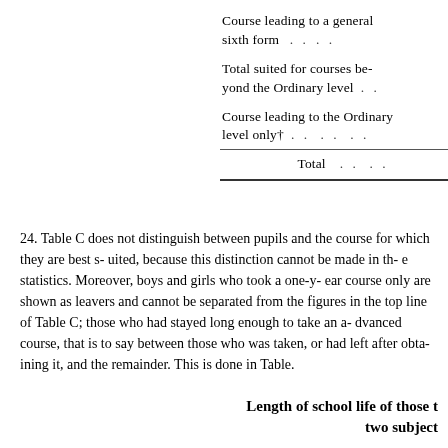| Course type | .. |
| --- | --- |
| Course leading to a general sixth form  ..  .. |  |
| Total suited for courses beyond the Ordinary level .. |  |
| Course leading to the Ordinary level only†  ..  ..  .. |  |
| Total  ..  .. |  |
24. Table C does not distinguish between pupils and the course for which they are best suited, because this distinction cannot be made in the statistics. Moreover, boys and girls who took a one-year course only are shown as leavers and cannot be separated from the figures in the top line of Table C; those who had stayed long enough to take an advanced course, that is to say between those whose advanced work was taken, or had left after obtaining it, and the remainder. This is done in Table.
Length of school life of those t… two subject…